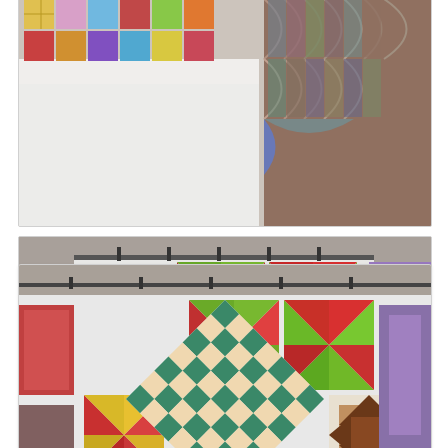[Figure (photo): Top portion of a photo showing colorful quilt blocks and fabric swatches hung on a wall or display area. Visible are patchwork blocks in various patterns including fan/cathedral windows and colorful squares.]
[Figure (photo): Photo of quilt blocks displayed on a design wall. Includes pinwheel blocks in red/orange and green, a large diamond-set checkerboard block in teal/green floral fabric, a star/bear paw block in brown, and other quilt blocks. Items hang from a rod against a white background.]
See the far left pinwheel?  Nah don't squint, it's ok, I took a close up so you can see the gorgeous print that looks plain yellow in the above pic....check it out below
[Figure (photo): Close-up photo of a pinwheel quilt block showing red/dark red fabric triangles and a light yellow/cream fabric, revealing the detailed print of the yellow fabric.]